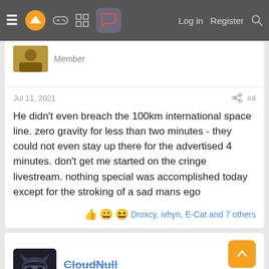≡ [logo] [game icon] [grid icon] [forum icon] Log in Register [search]
Member
Jul 11, 2021  #4
He didn't even breach the 100km international space line. zero gravity for less than two minutes - they could not even stay up there for the advertised 4 minutes. don't get me started on the cringe livestream. nothing special was accomplished today except for the stroking of a sad mans ego
Droxcy, ivhyn, E-Cat and 7 others
CloudNull
Banned
Jul 11, 2021  #5